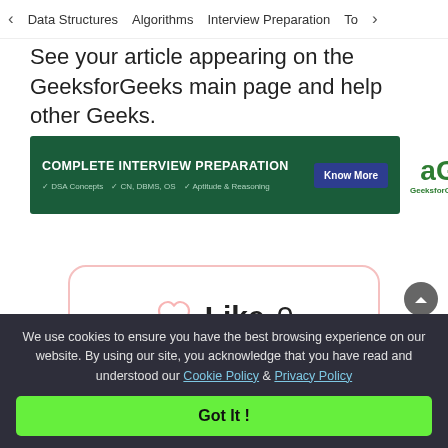< Data Structures   Algorithms   Interview Preparation   To>
See your article appearing on the GeeksforGeeks main page and help other Geeks.
[Figure (screenshot): GeeksforGeeks Complete Interview Preparation advertisement banner with dark green background, 'Know More' button, and GeeksforGeeks logo]
[Figure (other): Like button widget with heart icon showing 0 likes, in a rounded rectangle with pink border]
We use cookies to ensure you have the best browsing experience on our website. By using our site, you acknowledge that you have read and understood our Cookie Policy & Privacy Policy
Got It !